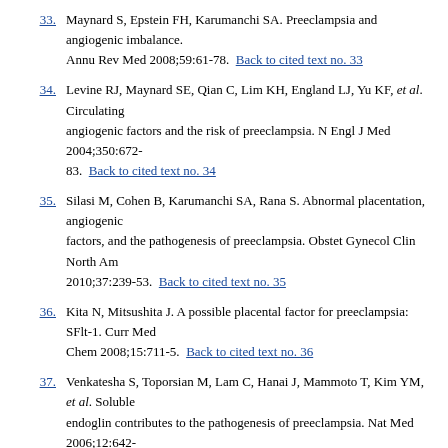33. Maynard S, Epstein FH, Karumanchi SA. Preeclampsia and angiogenic imbalance. Annu Rev Med 2008;59:61-78. Back to cited text no. 33
34. Levine RJ, Maynard SE, Qian C, Lim KH, England LJ, Yu KF, et al. Circulating angiogenic factors and the risk of preeclampsia. N Engl J Med 2004;350:672-83. Back to cited text no. 34
35. Silasi M, Cohen B, Karumanchi SA, Rana S. Abnormal placentation, angiogenic factors, and the pathogenesis of preeclampsia. Obstet Gynecol Clin North Am 2010;37:239-53. Back to cited text no. 35
36. Kita N, Mitsushita J. A possible placental factor for preeclampsia: SFlt-1. Curr Med Chem 2008;15:711-5. Back to cited text no. 36
37. Venkatesha S, Toporsian M, Lam C, Hanai J, Mammoto T, Kim YM, et al. Soluble endoglin contributes to the pathogenesis of preeclampsia. Nat Med 2006;12:642-9. Back to cited text no. 37
38. Chen Y. Novel angiogenic factors for predicting preeclampsia: sFlt-1, PlGF and soluble endoglin. Open Clin Chem J 2009;2:1-6. Back to cited text no. 38
39. Foidart JM, Schaaps JP, Chantraine F, Munaut C, Lorquet S. Dysregulation of anti-angiogenic agents (sFlt-1, PLGF, and sEndoglin) in preeclampsia – A step forward